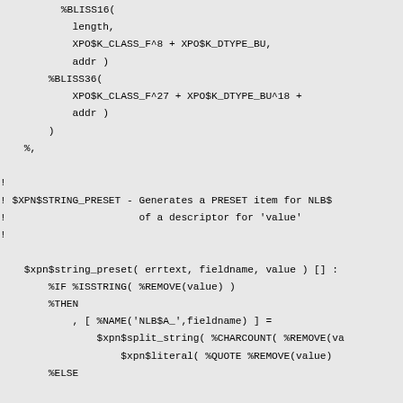%BLISS16(
            length,
            XPO$K_CLASS_F^8 + XPO$K_DTYPE_BU,
            addr )
        %BLISS36(
            XPO$K_CLASS_F^27 + XPO$K_DTYPE_BU^18 +
            addr )
        )
    %,

!
! $XPN$STRING_PRESET - Generates a PRESET item for NLB$
!                      of a descriptor for 'value'
!

    $xpn$string_preset( errtext, fieldname, value ) [] :
        %IF %ISSTRING( %REMOVE(value) )
        %THEN
            , [ %NAME('NLB$A_',fieldname) ] =
                $xpn$split_string( %CHARCOUNT( %REMOVE(va
                    $xpn$literal( %QUOTE %REMOVE(value)
        %ELSE

            %IF NOT $xpn$paren_test( value )
            %THEN
                %WARN( 'descriptor not allowed as ', er
                %EXITMACRO
            %FI

            , [ %NAME('NLB$A_',fieldname) ] =